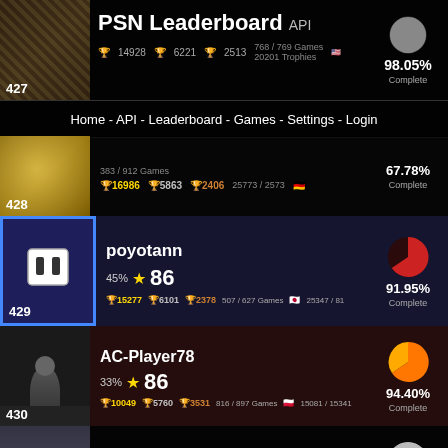PSN Leaderboard API
Home - API - Leaderboard - Games - Settings - Login
| Rank | Player | Level | Trophies (Gold/Silver/Bronze) | Games | Complete% |
| --- | --- | --- | --- | --- | --- |
| 427 |  | 64% ★ 86 | 14928 / 6221 / 2513 | 768/769 Games / 20201 Trophies | 98.05% Complete |
| 428 |  |  | 16986 / 5863 / 2406 | 383/912 Games / 25773 Trophies / 2573 | 67.78% Complete |
| 429 | poyotann | 45% ★ 86 | 15277 / 6101 / 2378 | 507/627 Games / 25347 Trophies / 81 | 91.95% Complete |
| 430 | AC-Player78 | 33% ★ 86 | 10049 / 5760 / 3531 | 816/897 Games / 15081 Trophies / 15341 | 94.40% Complete |
| 431 | luckyluscombe | 18% ★ 86 | 10895 / 5790 / 3322 | 749/754 Games / 25526 Trophies / 43 | 99.71% Complete |